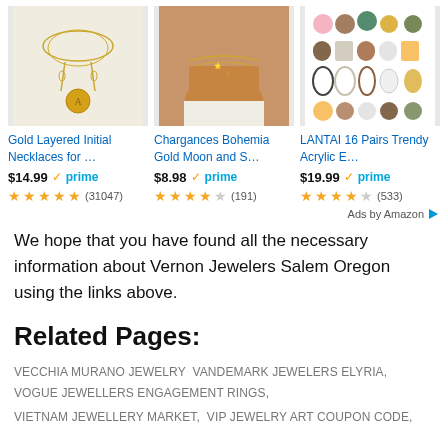[Figure (other): Three Amazon product ads: Gold Layered Initial Necklaces, Chargances Bohemia Gold Moon Necklace, LANTAI 16 Pairs Trendy Acrylic Earrings]
Ads by Amazon
We hope that you have found all the necessary information about Vernon Jewelers Salem Oregon using the links above.
Related Pages:
VECCHIA MURANO JEWELRY  VANDEMARK JEWELERS ELYRIA,  VOGUE JEWELLERS ENGAGEMENT RINGS,
VIETNAM JEWELLERY MARKET,  VIP JEWELRY ART COUPON CODE,